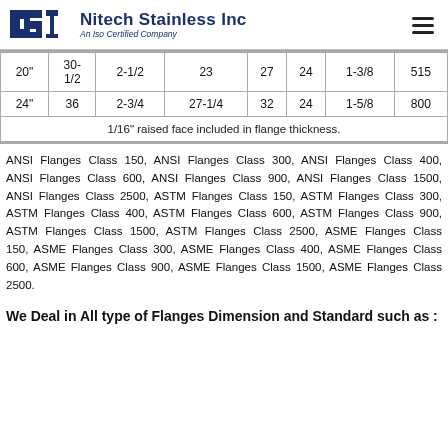Nitech Stainless Inc — An Iso Certified Company
| 20" | 30-1/2 | 2-1/2 | 23 | 27 | 24 | 1-3/8 | 515 |
| 24" | 36 | 2-3/4 | 27-1/4 | 32 | 24 | 1-5/8 | 800 |
| 1/16" raised face included in flange thickness. |
ANSI Flanges Class 150, ANSI Flanges Class 300, ANSI Flanges Class 400, ANSI Flanges Class 600, ANSI Flanges Class 900, ANSI Flanges Class 1500, ANSI Flanges Class 2500, ASTM Flanges Class 150, ASTM Flanges Class 300, ASTM Flanges Class 400, ASTM Flanges Class 600, ASTM Flanges Class 900, ASTM Flanges Class 1500, ASTM Flanges Class 2500, ASME Flanges Class 150, ASME Flanges Class 300, ASME Flanges Class 400, ASME Flanges Class 600, ASME Flanges Class 900, ASME Flanges Class 1500, ASME Flanges Class 2500.
We Deal in All type of Flanges Dimension and Standard such as :